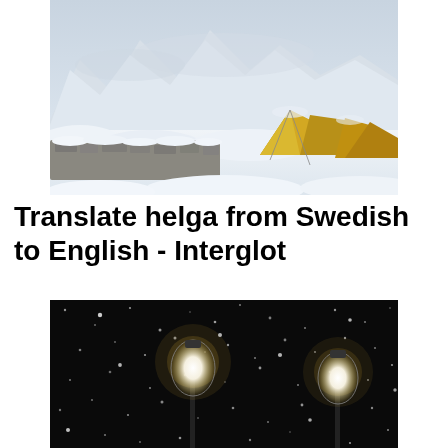[Figure (photo): Snow-covered mountain base camp with yellow tents and stone walls under a cloudy sky with snowy peaks in background.]
Translate helga from Swedish to English - Interglot
[Figure (photo): Two glowing street lamps against a dark background with snowflakes falling, creating a night winter scene.]